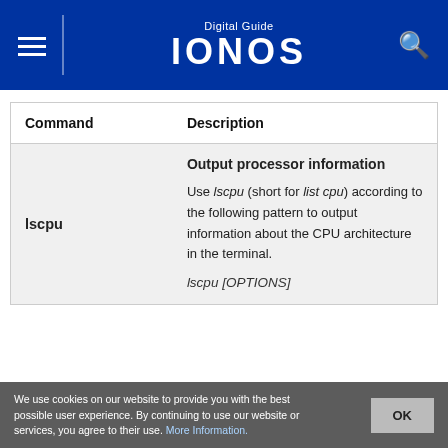Digital Guide IONOS
| Command | Description |
| --- | --- |
| lscpu | Output processor information

Use lscpu (short for list cpu) according to the following pattern to output information about the CPU architecture in the terminal.

lscpu [OPTIONS] |
We use cookies on our website to provide you with the best possible user experience. By continuing to use our website or services, you agree to their use. More Information.